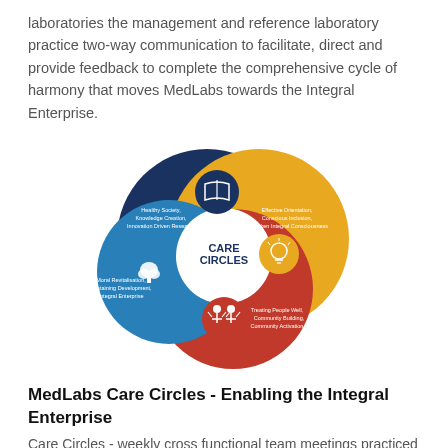laboratories the management and reference laboratory practice two-way communication to facilitate, direct and provide feedback to complete the comprehensive cycle of harmony that moves MedLabs towards the Integral Enterprise.
[Figure (infographic): CARE CIRCLES infographic showing three interlocking circles in navy blue, yellow/gold, and red/crimson. Center white circle reads 'CARE CIRCLES'. Navy blue section (top-left) contains an open book icon and text: 'Healthy Society, Knowledge Creation, Innovation Driven Research'. Yellow/gold section (top-right) contains a lightbulb/head icon and text: 'Effective Orientation, Conscious Inclusion, Awaken Integral Consciousness'. Blue section (left) contains a tree icon and text: 'Moral Revitalisation, Sustaining Development, Integral Enterprise'. Red section (bottom) contains a people/hands icon and text: 'Treating People Well, Community Building, Community Activation'.]
MedLabs Care Circles - Enabling the Integral Enterprise
Care Circles - weekly cross functional team meetings practiced